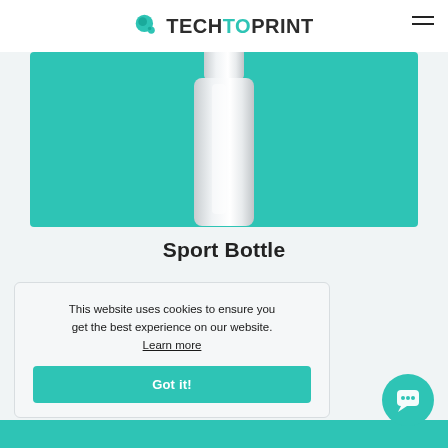TECHTOPRINT
[Figure (photo): White sport bottle on teal/green background]
Sport Bottle
This website uses cookies to ensure you get the best experience on our website. Learn more
Got it!